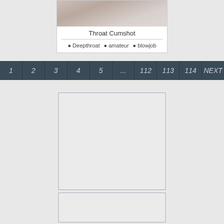[Figure (photo): Thumbnail image at top of card, showing a close-up face]
Throat Cumshot
Deepthroat
amateur
blowjob
1  2  3  4  5  ...  112  113  114  NEXT
[Figure (other): Advertisement placeholder box]
[Figure (other): Advertisement placeholder box 2]